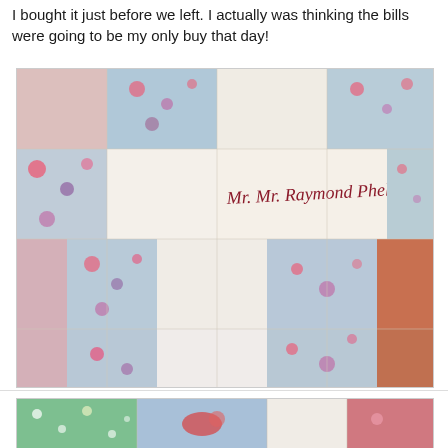I bought it just before we left. I actually was thinking the bills were going to be my only buy that day!
[Figure (photo): Close-up photograph of a patchwork quilt with blue floral fabric patches and white/cream patches. A central white patch has embroidered cursive text reading 'Mr. Mr. Raymond Phelps'. The quilt has various floral print fabrics in pink, blue, and purple tones.]
[Figure (photo): Partial view of another quilt with green and blue floral patchwork squares and pink/red fabric pieces visible.]